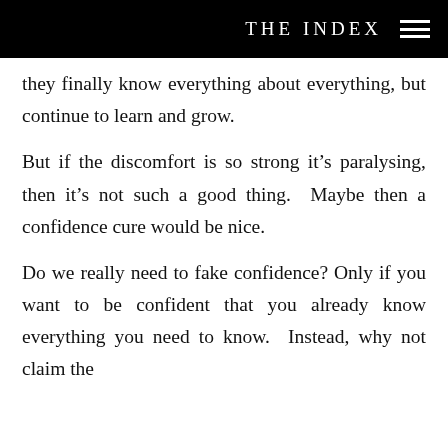THE INDEX
they finally know everything about everything, but continue to learn and grow.
But if the discomfort is so strong it's paralysing, then it's not such a good thing. Maybe then a confidence cure would be nice.
Do we really need to fake confidence? Only if you want to be confident that you already know everything you need to know. Instead, why not claim the